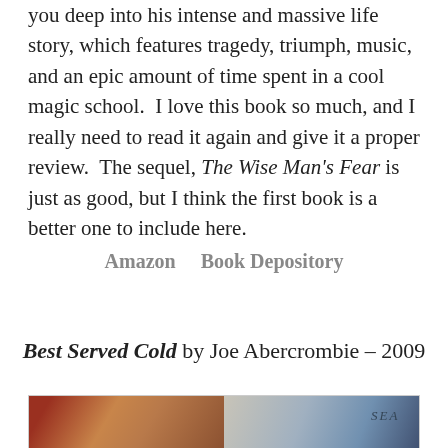you deep into his intense and massive life story, which features tragedy, triumph, music, and an epic amount of time spent in a cool magic school.  I love this book so much, and I really need to read it again and give it a proper review.  The sequel, The Wise Man's Fear is just as good, but I think the first book is a better one to include here.
Amazon    Book Depository
Best Served Cold by Joe Abercrombie – 2009
[Figure (photo): Book cover image for Best Served Cold, showing a map-like illustration split into two panels with aged parchment tones on the left and sea/blue tones on the right, with stylized text 'SEA' visible.]